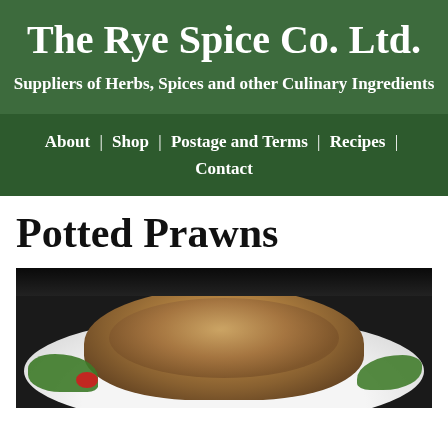The Rye Spice Co. Ltd.
Suppliers of Herbs, Spices and other Culinary Ingredients
About | Shop | Postage and Terms | Recipes | Contact
Potted Prawns
[Figure (photo): Photo of potted prawns served on a white plate with green herb garnish and a red element, viewed from slightly above]